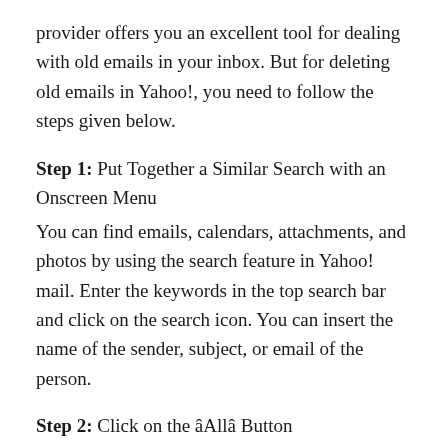provider offers you an excellent tool for dealing with old emails in your inbox. But for deleting old emails in Yahoo!, you need to follow the steps given below.
Step 1: Put Together a Similar Search with an Onscreen Menu
You can find emails, calendars, attachments, and photos by using the search feature in Yahoo! mail. Enter the keywords in the top search bar and click on the search icon. You can insert the name of the sender, subject, or email of the person.
Step 2: Click on the âAllâ Button
Now, click âAllâ located at the left of the search button at the top of the screen.